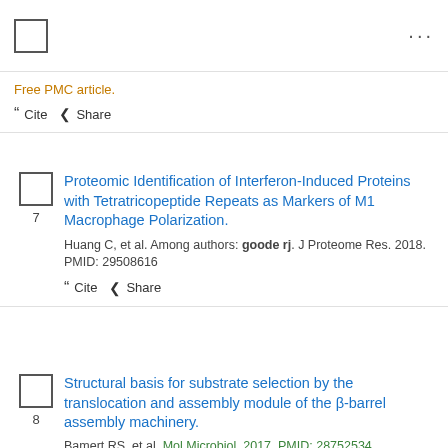Free PMC article.
" Cite  < Share
7. Proteomic Identification of Interferon-Induced Proteins with Tetratricopeptide Repeats as Markers of M1 Macrophage Polarization. Huang C, et al. Among authors: goode rj. J Proteome Res. 2018. PMID: 29508616
" Cite  < Share
8. Structural basis for substrate selection by the translocation and assembly module of the β-barrel assembly machinery. Bamert RS, et al. Mol Microbiol. 2017. PMID: 28752534 Free PMC article.